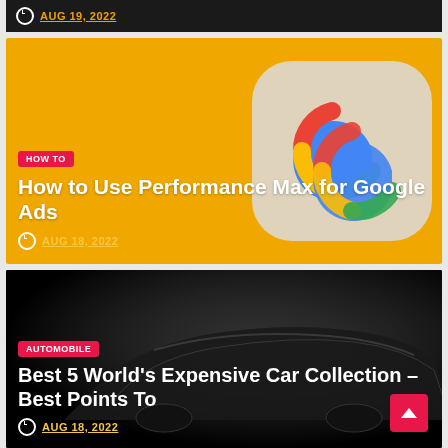[Figure (screenshot): Partially visible dark article card showing date AUG 19, 2022 with clock icon]
[Figure (photo): Article card with yellow/gold background showing Google G logo icons, tagged HOW TO, titled 'How to Use Performance Max for Google Ads', dated AUG 18, 2022]
[Figure (photo): Article card with dark background showing a black luxury sports car (Bugatti-style), tagged AUTOMOBILE, titled 'Best 5 World's Expensive Car Collection – Best Points To', dated AUG 18, 2022]